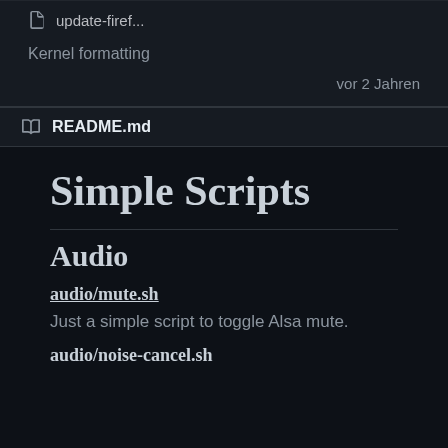update-firef...
Kernel formatting
vor 2 Jahren
README.md
Simple Scripts
Audio
audio/mute.sh
Just a simple script to toggle Alsa mute.
audio/noise-cancel.sh